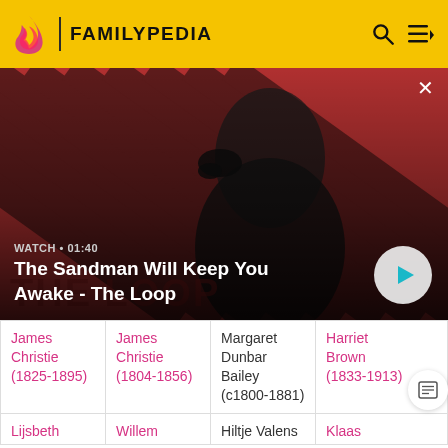FAMILYPEDIA
[Figure (screenshot): Video thumbnail for 'The Sandman Will Keep You Awake - The Loop' with a dark-cloaked figure and a raven on a diagonal striped red/black background. Shows WATCH • 01:40 label and a play button.]
WATCH • 01:40
The Sandman Will Keep You Awake - The Loop
| James Christie (1825-1895) | James Christie (1804-1856) | Margaret Dunbar Bailey (c1800-1881) | Harriet Brown (1833-1913) |
| Lijsbeth | Willem | Hiltje Valens | Klaas |